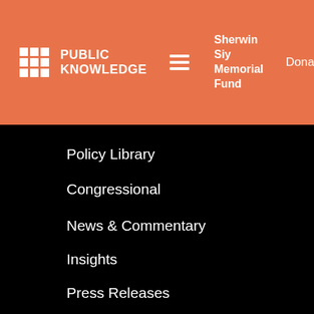PUBLIC KNOWLEDGE | Sherwin Siy Memorial Fund | Donate
Policy Library
Congressional
Papers & Reports
Regulatory & Legal
NEWS & COMMENTARY
News & Commentary
Insights
Press Releases
In The News
Events